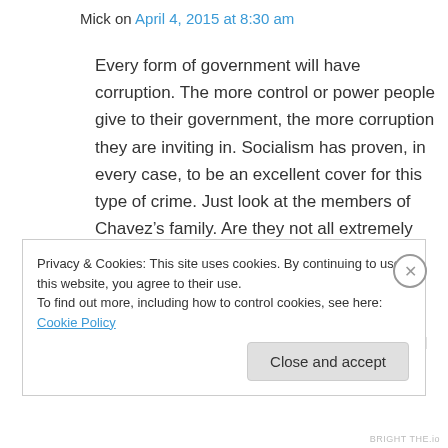Mick on April 4, 2015 at 8:30 am
Every form of government will have corruption. The more control or power people give to their government, the more corruption they are inviting in. Socialism has proven, in every case, to be an excellent cover for this type of crime. Just look at the members of Chavez’s family. Are they not all extremely wealthy now compared to 20 years ago?
No leader is going to walk on water. They all
Privacy & Cookies: This site uses cookies. By continuing to use this website, you agree to their use.
To find out more, including how to control cookies, see here: Cookie Policy
Close and accept